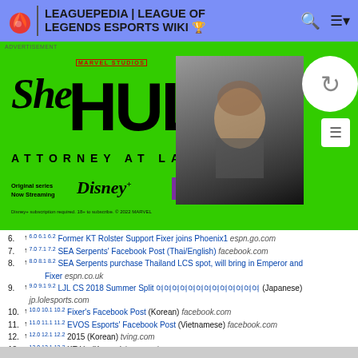LEAGUEPEDIA | LEAGUE OF LEGENDS ESPORTS WIKI
[Figure (screenshot): She-Hulk Attorney at Law advertisement banner on green background with Disney+ Stream Now button]
6. ↑ 6.0 6.1 6.2 Former KT Rolster Support Fixer joins Phoenix1 espn.go.com
7. ↑ 7.0 7.1 7.2 SEA Serpents' Facebook Post (Thai/English) facebook.com
8. ↑ 8.0 8.1 8.2 SEA Serpents purchase Thailand LCS spot, will bring in Emperor and Fixer espn.co.uk
9. ↑ 9.0 9.1 9.2 LJL CS 2018 Summer Split (Japanese) jp.lolesports.com
10. ↑ 10.0 10.1 10.2 Fixer's Facebook Post (Korean) facebook.com
11. ↑ 11.0 11.1 11.2 EVOS Esports' Facebook Post (Vietnamese) facebook.com
12. ↑ 12.0 12.1 12.2 2015 (Korean) tving.com
13. ↑ 13.0 13.1 13.2 KT ' ' . (Korean) inven.co.kr
14. ↑ 14.0 14.1 14.2 KT, ' ' (Korean) dailygame.co.kr
15. ↑ [ ] KT ' ' . (Korean) inven.co.kr (English Translation) liquidlegends.net